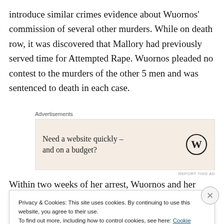introduce similar crimes evidence about Wuornos' commission of several other murders. While on death row, it was discovered that Mallory had previously served time for Attempted Rape. Wuornos pleaded no contest to the murders of the other 5 men and was sentenced to death in each case.
[Figure (other): Advertisement banner with WordPress logo: 'Need a website quickly – and on a budget?']
Within two weeks of her arrest, Wuornos and her attorney
Privacy & Cookies: This site uses cookies. By continuing to use this website, you agree to their use.
To find out more, including how to control cookies, see here: Cookie Policy